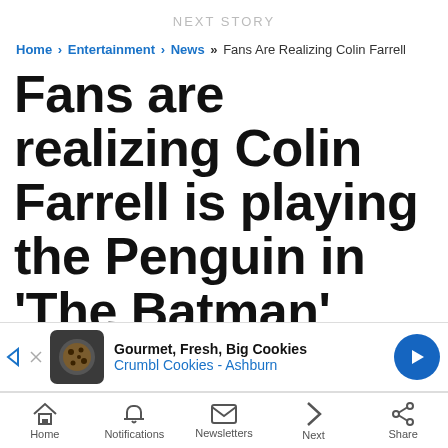NEXT STORY
Home › Entertainment › News » Fans Are Realizing Colin Farrell
Fans are realizing Colin Farrell is playing the Penguin in 'The Batman' and they can't get over how unrecognizable he loo…
[Figure (infographic): Advertisement banner for Crumbl Cookies - Ashburn: Gourmet, Fresh, Big Cookies]
Home  Notifications  Newsletters  Next  Share